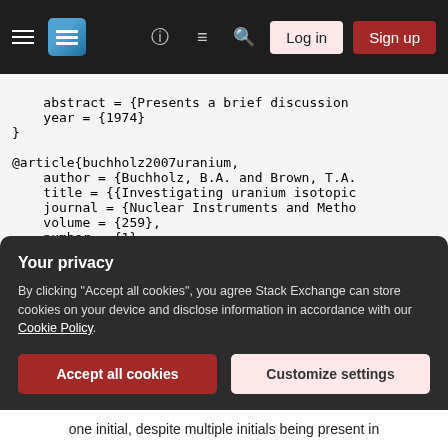Stack Exchange navigation bar with hamburger menu, logo, help, chat, search icons, Log in and Sign up buttons
abstract = {Presents a brief discussion
    year = {1974}
}

@article{buchholz2007uranium,
    author = {Buchholz, B.A. and Brown, T.A.
    title = {{Investigating uranium isotopic
    journal = {Nuclear Instruments and Metho
    volume = {259},
    number = {1},
    pages = {733-738},
    year = {2007},
    doi = {http://dx.doi.org/10.1016/j.nimb.
Your privacy
By clicking "Accept all cookies", you agree Stack Exchange can store cookies on your device and disclose information in accordance with our Cookie Policy.
one initial, despite multiple initials being present in